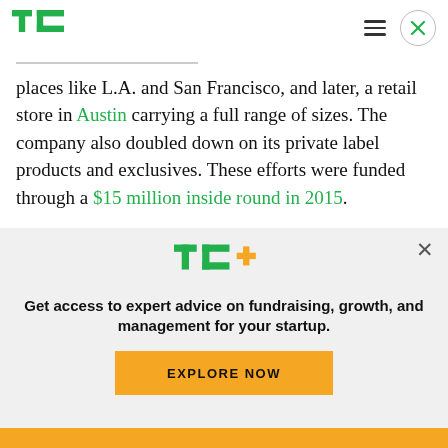TechCrunch header with logo, menu and close button
places like L.A. and San Francisco, and later, a retail store in Austin carrying a full range of sizes. The company also doubled down on its private label products and exclusives. These efforts were funded through a $15 million inside round in 2015.
The initiatives were paying off, with a profitable year
[Figure (infographic): TechCrunch TC+ promotional overlay with logo, tagline 'Get access to expert advice on fundraising, growth, and management for your startup.' and EXPLORE NOW button]
Get access to expert advice on fundraising, growth, and management for your startup.